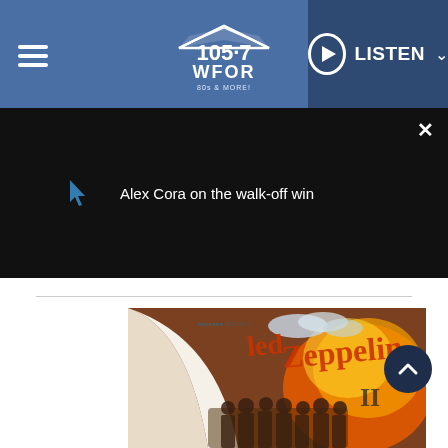105.7 WFOR — LISTEN
[Figure (screenshot): Video player bar showing 'Alex Cora on the walk-off win' with close button]
[Figure (photo): Led Zeppelin II album cover showing band members and fiery background]